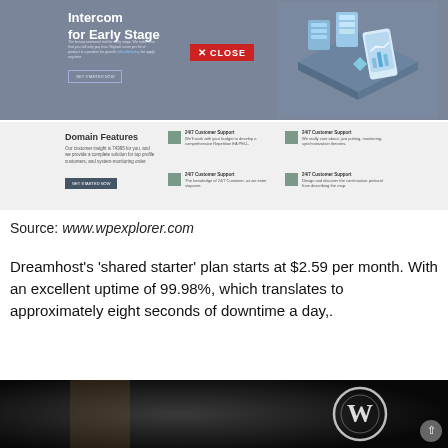[Figure (screenshot): Screenshot of Intercom for Early Stage promotional banner with a blue/grey background, showing isometric graphic of devices and servers on the right, white heading text 'Intercom for Early Stage', small descriptive text, a GET STARTED NOW button, and a red CLOSE button overlay]
[Figure (screenshot): Screenshot of Domain Features section with heading, description text, GET STARTED NOW button, and four feature items each with icon, '24/7 Customer Support' heading and description text]
Source: www.wpexplorer.com
Dreamhost's 'shared starter' plan starts at $2.59 per month. With an excellent uptime of 99.98%, which translates to approximately eight seconds of downtime a day,.
[Figure (photo): Dark close-up photograph showing what appears to be a WordPress logo on dark clothing/background, partially visible]